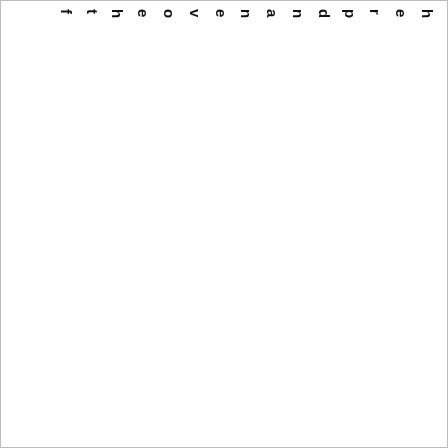ftheovena nd preheat to 350 de